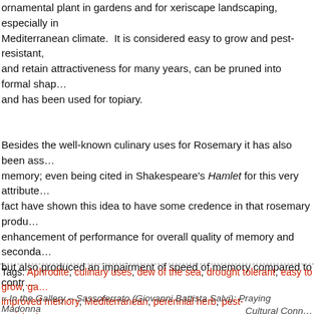ornamental plant in gardens and for xeriscape landscaping, especially in Mediterranean climate.  It is considered easy to grow and pest-resistant, and retain attractiveness for many years, can be pruned into formal shapes and has been used for topiary.
Besides the well-known culinary uses for Rosemary it has also been associated with memory; even being cited in Shakespeare's Hamlet for this very attribute. Studies in fact have shown this idea to have some credence in that rosemary produced an enhancement of performance for overall quality of memory and secondary memory, but also produced an impairment of speed of memory compared to controls.
Tags: Aphrodite, culinary uses, dew of the sea, drought tolerant, easy to grow, ga... improved memory, Mediterranean, perennial herb, pest-resistant, rosemary, rosm... topiary, what's blooming
« In the Gallery – Sassoferrato (Giovanni Battista Salvi): Praying Madonna
Cultural Conn...